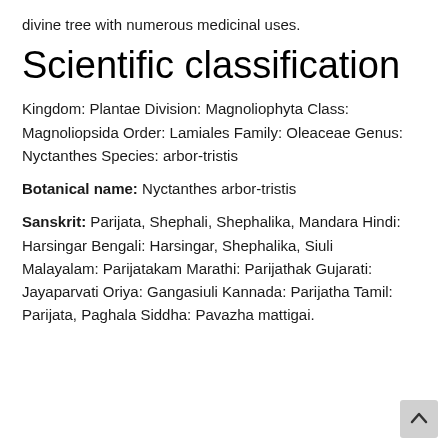divine tree with numerous medicinal uses.
Scientific classification
Kingdom: Plantae Division: Magnoliophyta Class: Magnoliopsida Order: Lamiales Family: Oleaceae Genus: Nyctanthes Species: arbor-tristis
Botanical name: Nyctanthes arbor-tristis
Sanskrit: Parijata, Shephali, Shephalika, Mandara Hindi: Harsingar Bengali: Harsingar, Shephalika, Siuli Malayalam: Parijatakam Marathi: Parijathak Gujarati: Jayaparvati Oriya: Gangasiuli Kannada: Parijatha Tamil: Parijata, Paghala Siddha: Pavazha mattigai.